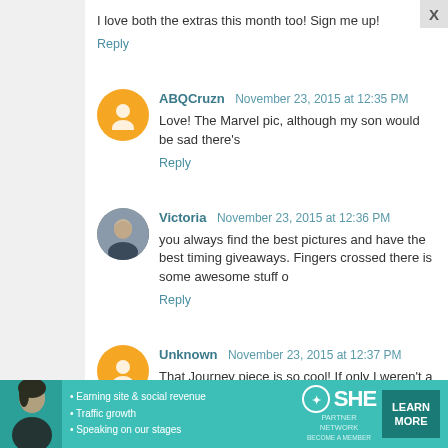I love both the extras this month too! Sign me up!
Reply
ABQCruzn  November 23, 2015 at 12:35 PM
Love! The Marvel pic, although my son would be sad there's
Reply
Victoria  November 23, 2015 at 12:36 PM
you always find the best pictures and have the best timing giveaways. Fingers crossed there is some awesome stuff o
Reply
Unknown  November 23, 2015 at 12:37 PM
That Journey piece is so cool! If only I weren't a poor colleg
Reply
[Figure (screenshot): SHE Partner Network advertisement banner at bottom of page with teal background, showing bullet points about earning site & social revenue, traffic growth, speaking on stages, along with a Learn More button]